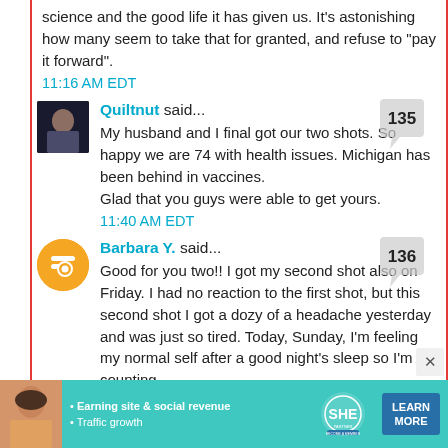science and the good life it has given us. It's astonishing how many seem to take that for granted, and refuse to "pay it forward".
11:16 AM EDT
Quiltnut said...
My husband and I final got our two shots. So happy we are 74 with health issues. Michigan has been behind in vaccines.
Glad that you guys were able to get yours.
11:40 AM EDT
Barbara Y. said...
Good for you two!! I got my second shot also on Friday. I had no reaction to the first shot, but this second shot I got a dozy of a headache yesterday and was just so tired. Today, Sunday, I'm feeling my normal self after a good night's sleep so I'm counting
[Figure (infographic): Advertisement banner for SHE Media Partner Network showing a woman, bullet points about earning site & social revenue and traffic growth, the SHE logo, and a Learn More button.]